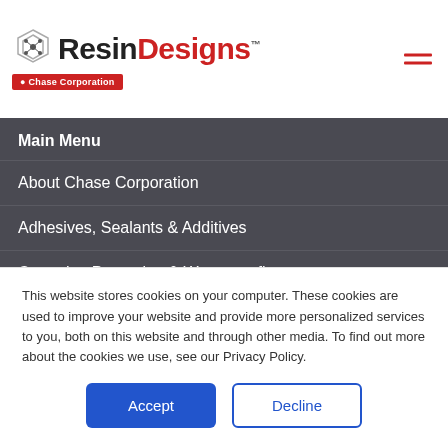ResinDesigns — Chase Corporation logo and hamburger menu
Main Menu
About Chase Corporation
Adhesives, Sealants & Additives
Corrosion Protection & Waterproofing
Industrial Tapes
Investor Relations
Press & News
This website stores cookies on your computer. These cookies are used to improve your website and provide more personalized services to you, both on this website and through other media. To find out more about the cookies we use, see our Privacy Policy.
Accept
Decline